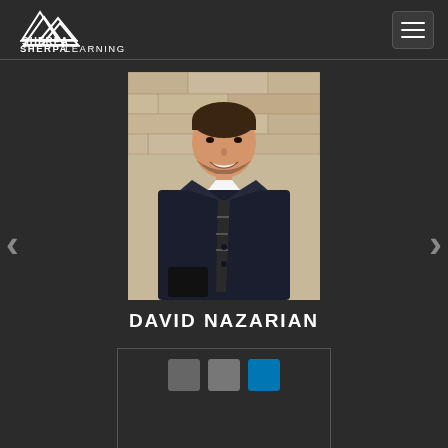SHERPA LEARNING
[Figure (photo): Portrait photo of David Nazarian, a man in a dark suit with a striped tie, smiling in front of a stone wall background.]
DAVID NAZARIAN